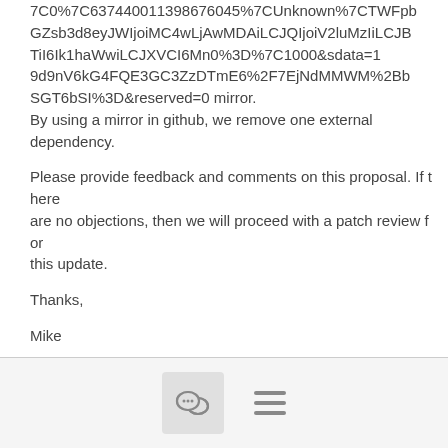7C0%7C637440011398676045%7CUnknown%7CTWFpbGZsb3d8eyJWIjoiMC4wLjAwMDAiLCJQIjoiV2luMzIiLCJBTiI6Ik1haWwiLCJXVCI6Mn0%3D%7C1000&amp;sdata=19d9nV6kG4FQE3GC3ZzDTmE6%2F7EjNdMMWM%2BbSGT6bSI%3D&amp;reserved=0 mirror.
By using a mirror in github, we remove one external dependency.

Please provide feedback and comments on this proposal. If there are no objections, then we will proceed with a patch review for this update.

Thanks,

Mike